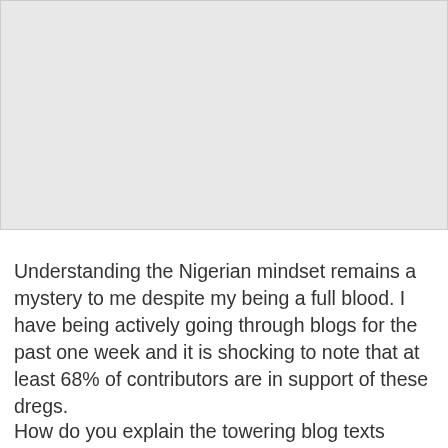[Figure (other): Large light gray rectangular image placeholder area at top of page]
Understanding the Nigerian mindset remains a mystery to me despite my being a full blood. I have being actively going through blogs for the past one week and it is shocking to note that at least 68% of contributors are in support of these dregs.
How do you explain the towering blog texts